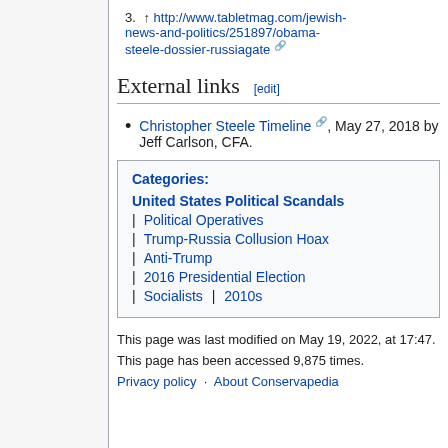3. ↑ http://www.tabletmag.com/jewish-news-and-politics/251897/obama-steele-dossier-russiagate
External links [edit]
Christopher Steele Timeline, May 27, 2018 by Jeff Carlson, CFA.
| Categories: |
| --- |
| United States Political Scandals |
| | Political Operatives |
| | Trump-Russia Collusion Hoax |
| | Anti-Trump |
| | 2016 Presidential Election |
| | Socialists | 2010s |
This page was last modified on May 19, 2022, at 17:47.

This page has been accessed 9,875 times.

Privacy policy · About Conservapedia